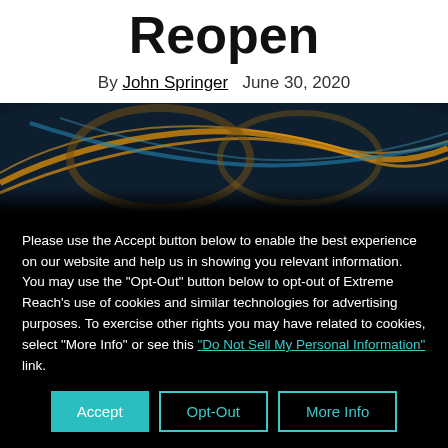Reopen
By John Springer   June 30, 2020
[Figure (photo): Aerial night photo of highway interchange with light trails in gold and blue tones]
Please use the Accept button below to enable the best experience on our website and help us in showing you relevant information. You may use the "Opt-Out" button below to opt-out of Extreme Reach's use of cookies and similar technologies for advertising purposes. To exercise other rights you may have related to cookies, select "More Info" or see this "Do Not Sell My Personal Information" link.